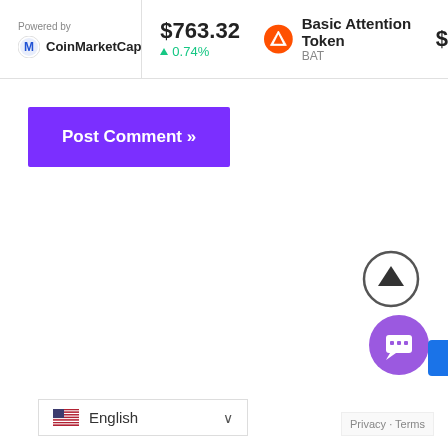Powered by CoinMarketCap | $763.32 ▲ 0.74% | Basic Attention Token BAT $
Post Comment »
[Figure (other): Scroll to top circular button with upward arrow]
[Figure (other): Purple chat widget button]
English
Privacy · Terms